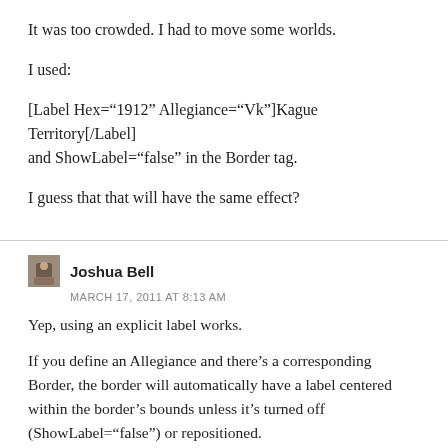It was too crowded. I had to move some worlds.
I used:
[Label Hex="1912" Allegiance="Vk"]Kague Territory[/Label]
and ShowLabel="false" in the Border tag.
I guess that that will have the same effect?
Joshua Bell
MARCH 17, 2011 AT 8:13 AM
Yep, using an explicit label works.
If you define an Allegiance and there’s a corresponding Border, the border will automatically have a label centered within the border’s bounds unless it’s turned off (ShowLabel="false") or repositioned.